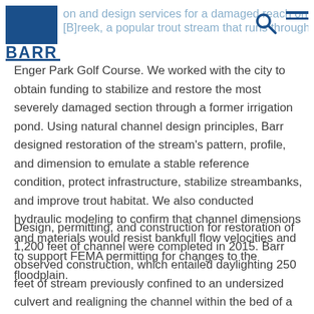on and design services for a damaged reach on [B]Creek, a popular trout stream that runs through Enger Park Golf Course. [BARR logo]
Enger Park Golf Course. We worked with the city to obtain funding to stabilize and restore the most severely damaged section through a former irrigation pond. Using natural channel design principles, Barr designed restoration of the stream's pattern, profile, and dimension to emulate a stable reference condition, protect infrastructure, stabilize streambanks, and improve trout habitat. We also conducted hydraulic modeling to confirm that channel dimensions and materials would resist bankfull flow velocities and to support FEMA permitting for changes to the floodplain.
Design, permitting, and construction for restoration of 1,200 feet of channel were completed in 2015. Barr observed construction, which entailed daylighting 250 feet of stream previously confined to an undersized culvert and realigning the channel within the bed of a former irrigation pond. At